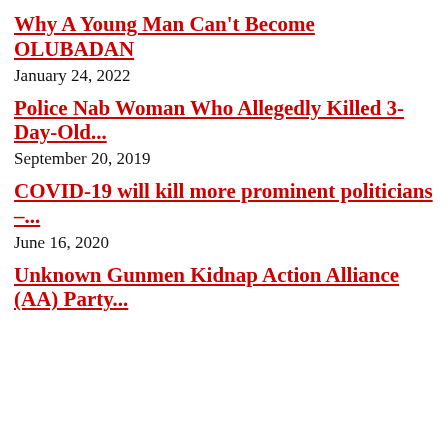Why A Young Man Can't Become OLUBADAN
January 24, 2022
Police Nab Woman Who Allegedly Killed 3-Day-Old...
September 20, 2019
COVID-19 will kill more prominent politicians –...
June 16, 2020
Unknown Gunmen Kidnap Action Alliance (AA) Party...